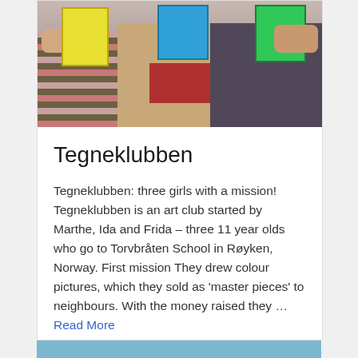[Figure (photo): Three children or young people holding colorful books or artwork, partially visible from waist up. Left person wears a striped shirt. Middle person has a red/maroon midsection. Right person wears a dark patterned top.]
Tegneklubben
Tegneklubben: three girls with a mission! Tegneklubben is an art club started by Marthe, Ida and Frida – three 11 year olds who go to Torvbråten School in Røyken, Norway. First mission They drew colour pictures, which they sold as 'master pieces' to neighbours. With the money raised they … Read More
[Figure (photo): Partial photo visible at bottom of page, appears to show a blue-toned image, cropped.]